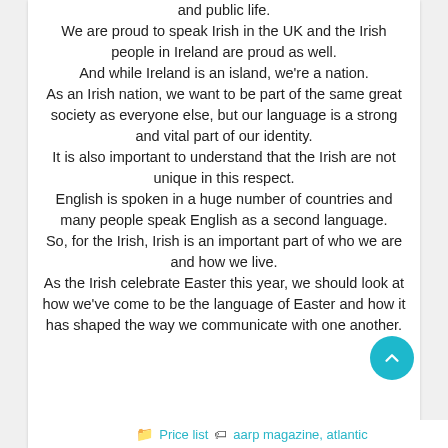and public life. We are proud to speak Irish in the UK and the Irish people in Ireland are proud as well. And while Ireland is an island, we're a nation. As an Irish nation, we want to be part of the same great society as everyone else, but our language is a strong and vital part of our identity. It is also important to understand that the Irish are not unique in this respect. English is spoken in a huge number of countries and many people speak English as a second language. So, for the Irish, Irish is an important part of who we are and how we live. As the Irish celebrate Easter this year, we should look at how we've come to be the language of Easter and how it has shaped the way we communicate with one another.
Price list   aarp magazine, atlantic